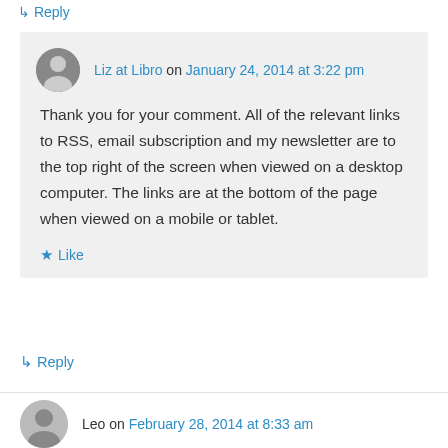↳ Reply
Liz at Libro on January 24, 2014 at 3:22 pm
Thank you for your comment. All of the relevant links to RSS, email subscription and my newsletter are to the top right of the screen when viewed on a desktop computer. The links are at the bottom of the page when viewed on a mobile or tablet.
★ Like
↳ Reply
Leo on February 28, 2014 at 8:33 am
Thanks very much for the help. It saved lot of